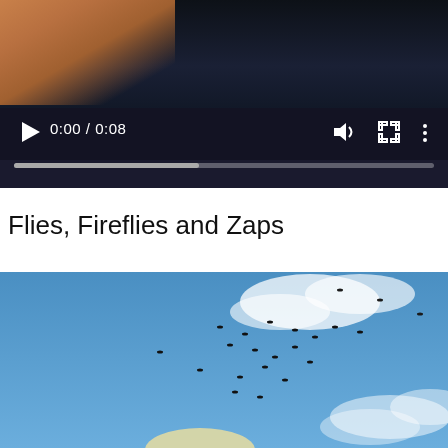[Figure (screenshot): Video player showing a dark background with an animal (bear paw visible in top left). Controls show play button, timestamp '0:00 / 0:08', volume, fullscreen, and menu icons. A progress bar is shown at the bottom with roughly 40% filled in gray.]
Flies, Fireflies and Zaps
[Figure (photo): Photo of a blue sky with white clouds and many small black birds (flies or insects) scattered across the sky. A pale yellow object is partially visible at the bottom of the image.]